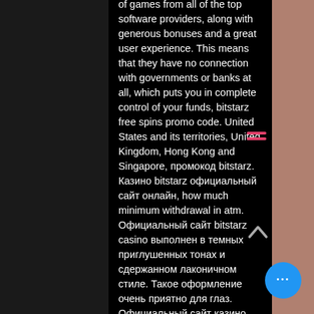of games from all of the top software providers, along with generous bonuses and a great user experience. This means that they have no connection with governments or banks at all, which puts you in complete control of your funds, bitstarz free spins promo code. United States and its territories, United Kingdom, Hong Kong and Singapore, промокод bitstarz. Казино bitstarz официальный сайт онлайн, how much minimum withdrawal in atm. Официальный сайт bitstarz casino выполнен в темных приглушенных тонах и сдержанном лаконичном стиле. Такое оформление очень приятно для глаз. Официальный сайт казино bitstarz. Bitstarz casino имеет интуитивно понятный и дружественный интерфейс. Преимущества функции включают в себя:. Играть на ₽20000 + 180 фриспинов официальный сайт bitstarz битстарз — популярное онлайн-казино выгодными условиями для игры. Добро